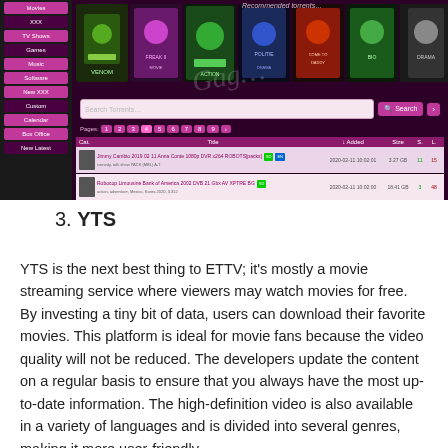[Figure (screenshot): Screenshot of a torrent website (ETTV-like) showing movie thumbnails with green-themed posters, a search bar, pagination, and a torrent listing table with columns for category, title, date added, size, seeders, and leechers. A sidebar on the left has pink/magenta navigation buttons. A watermark is visible in the center.]
3. YTS
YTS is the next best thing to ETTV; it's mostly a movie streaming service where viewers may watch movies for free. By investing a tiny bit of data, users can download their favorite movies. This platform is ideal for movie fans because the video quality will not be reduced. The developers update the content on a regular basis to ensure that you always have the most up-to-date information. The high-definition video is also available in a variety of languages and is divided into several genres, making it more user-friendly.